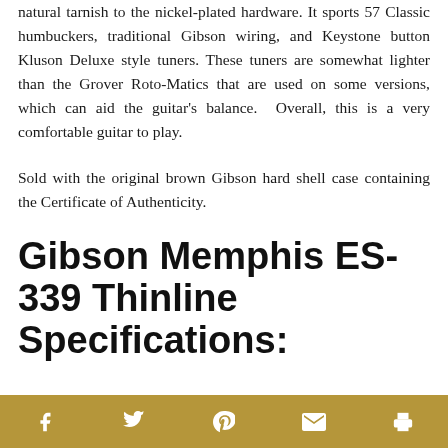natural tarnish to the nickel-plated hardware. It sports 57 Classic humbuckers, traditional Gibson wiring, and Keystone button Kluson Deluxe style tuners. These tuners are somewhat lighter than the Grover Roto-Matics that are used on some versions, which can aid the guitar's balance. Overall, this is a very comfortable guitar to play.
Sold with the original brown Gibson hard shell case containing the Certificate of Authenticity.
Gibson Memphis ES-339 Thinline Specifications:
Social share bar with icons: Facebook, Twitter, Pinterest, Email, Print